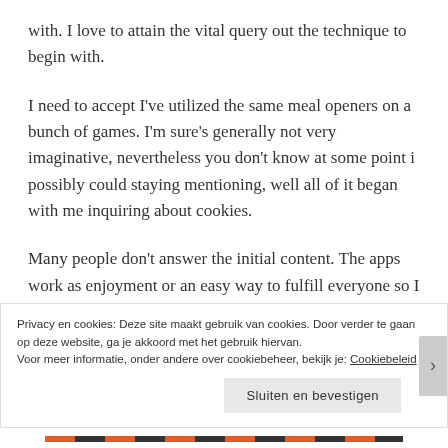with. I love to attain the vital query out the technique to begin with.
I need to accept I've utilized the same meal openers on a bunch of games. I'm sure's generally not very imaginative, nevertheless you don't know at some point i possibly could staying mentioning, well all of it began with me inquiring about cookies.
Many people don't answer the initial content. The apps work as enjoyment or an easy way to fulfill everyone so I dont believe there's anything at all completely wrong with
Privacy en cookies: Deze site maakt gebruik van cookies. Door verder te gaan op deze website, ga je akkoord met het gebruik hiervan.
Voor meer informatie, onder andere over cookiebeheer, bekijk je: Cookiebeleid
Sluiten en bevestigen